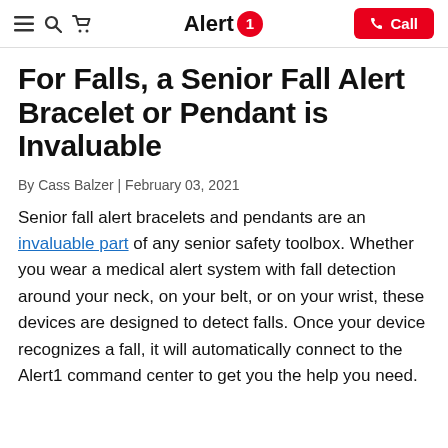Alert1 | Call
For Falls, a Senior Fall Alert Bracelet or Pendant is Invaluable
By Cass Balzer | February 03, 2021
Senior fall alert bracelets and pendants are an invaluable part of any senior safety toolbox. Whether you wear a medical alert system with fall detection around your neck, on your belt, or on your wrist, these devices are designed to detect falls. Once your device recognizes a fall, it will automatically connect to the Alert1 command center to get you the help you need.